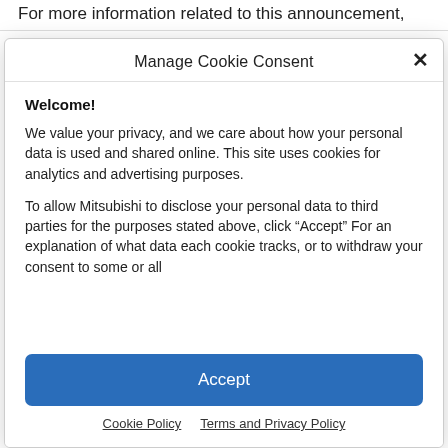For more information related to this announcement,
Manage Cookie Consent
Welcome!
We value your privacy, and we care about how your personal data is used and shared online. This site uses cookies for analytics and advertising purposes.
To allow Mitsubishi to disclose your personal data to third parties for the purposes stated above, click “Accept” For an explanation of what data each cookie tracks, or to withdraw your consent to some or all
Accept
Cookie Policy   Terms and Privacy Policy